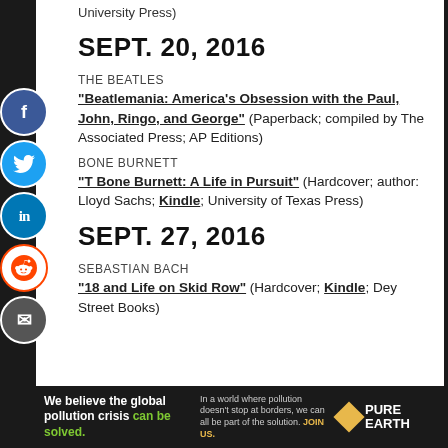University Press)
SEPT. 20, 2016
THE BEATLES
“Beatlemania: America’s Obsession with the Paul, John, Ringo, and George” (Paperback; compiled by The Associated Press; AP Editions)
BONE BURNETT
“T Bone Burnett: A Life in Pursuit” (Hardcover; author: Lloyd Sachs; Kindle; University of Texas Press)
SEPT. 27, 2016
SEBASTIAN BACH
“18 and Life on Skid Row” (Hardcover; Kindle; Dey Street Books)